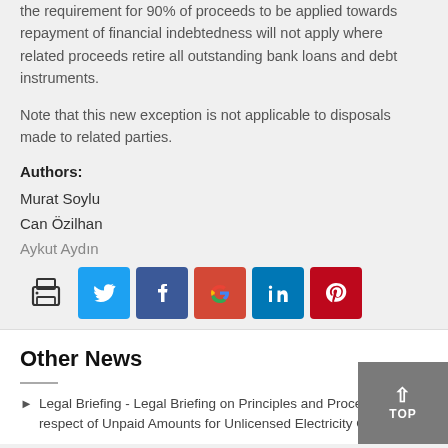the requirement for 90% of proceeds to be applied towards repayment of financial indebtedness will not apply where related proceeds retire all outstanding bank loans and debt instruments.
Note that this new exception is not applicable to disposals made to related parties.
Authors:
Murat Soylu
Can Özilhan
Aykut Aydın
[Figure (infographic): Social sharing buttons: print icon, Twitter (blue), Facebook (dark blue), Google (red), LinkedIn (blue), Pinterest (dark red)]
Other News
Legal Briefing - Legal Briefing on Principles and Procedures in respect of Unpaid Amounts for Unlicensed Electricity Generation